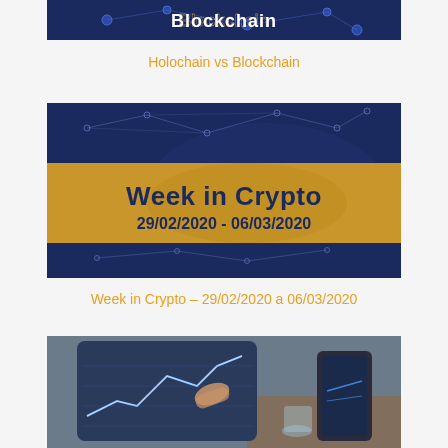[Figure (illustration): Partial view of a dark blue banner image with text 'Holochain vs Blockchain' at the top, cut off at the top of the page]
Holochain vs Blockchain
[Figure (illustration): Dark navy blue banner with gold/yellow horizontal band in the middle. Text reads 'Week in Crypto' in bold dark letters and '29/02/2020 - 06/03/2020' below it. Background has geometric network lines and a faint world map.]
Week in Crypto – 29/02/2020 a 06/03/2020
[Figure (photo): Photo of a person's hand using a touchscreen tablet displaying financial chart/crypto data, with a phone and desk surface visible in background. Partially cut off at bottom.]